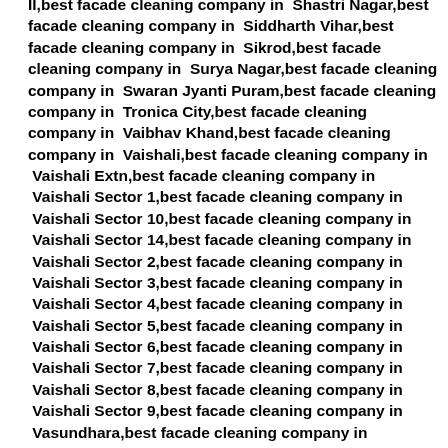II,best facade cleaning company in  Shastri Nagar,best facade cleaning company in  Siddharth Vihar,best facade cleaning company in  Sikrod,best facade cleaning company in  Surya Nagar,best facade cleaning company in  Swaran Jyanti Puram,best facade cleaning company in  Tronica City,best facade cleaning company in  Vaibhav Khand,best facade cleaning company in  Vaishali,best facade cleaning company in  Vaishali Extn,best facade cleaning company in  Vaishali Sector 1,best facade cleaning company in  Vaishali Sector 10,best facade cleaning company in  Vaishali Sector 14,best facade cleaning company in  Vaishali Sector 2,best facade cleaning company in  Vaishali Sector 3,best facade cleaning company in  Vaishali Sector 4,best facade cleaning company in  Vaishali Sector 5,best facade cleaning company in  Vaishali Sector 6,best facade cleaning company in  Vaishali Sector 7,best facade cleaning company in  Vaishali Sector 8,best facade cleaning company in  Vaishali Sector 9,best facade cleaning company in  Vasundhara,best facade cleaning company in  Vasundhara Sector 1,best facade cleaning company in  Vasundhara Sector 10,best facade cleaning company in  Vasundhara Sector 11,best facade cleaning company in  Vasundhara Sector 12,best facade cleaning company in  Vasundhara Sector 13,best facade cleaning company in  Vasundhara Sector 14,best facade cleaning company in  Vasundhara Sector 15,best facade cleaning company in  Vasundhara Sector 16,best facade cleaning company